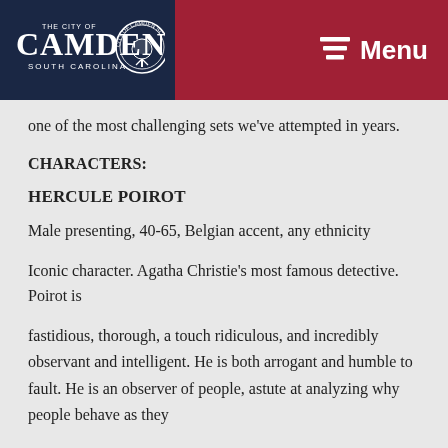Camden South Carolina — Menu
one of the most challenging sets we've attempted in years.
CHARACTERS:
HERCULE POIROT
Male presenting, 40-65, Belgian accent, any ethnicity
Iconic character. Agatha Christie's most famous detective. Poirot is
fastidious, thorough, a touch ridiculous, and incredibly observant and intelligent. He is both arrogant and humble to fault. He is an observer of people, astute at analyzing why people behave as they